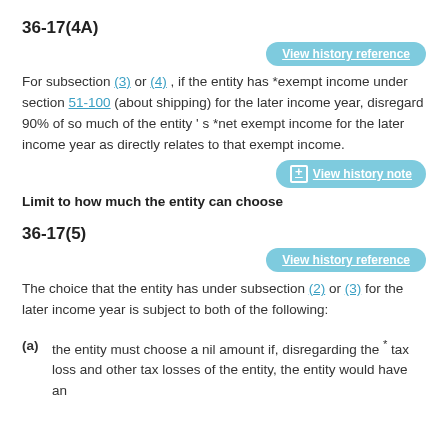36-17(4A)
View history reference
For subsection (3) or (4) , if the entity has *exempt income under section 51-100 (about shipping) for the later income year, disregard 90% of so much of the entity’s *net exempt income for the later income year as directly relates to that exempt income.
View history note
Limit to how much the entity can choose
36-17(5)
View history reference
The choice that the entity has under subsection (2) or (3) for the later income year is subject to both of the following:
(a)   the entity must choose a nil amount if, disregarding the * tax loss and other tax losses of the entity, the entity would have an